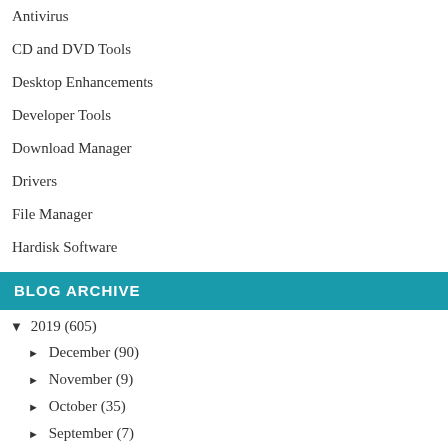Antivirus
CD and DVD Tools
Desktop Enhancements
Developer Tools
Download Manager
Drivers
File Manager
Hardisk Software
BLOG ARCHIVE
▼ 2019 (605)
► December (90)
► November (9)
► October (35)
► September (7)
► June (20)
► May (14)